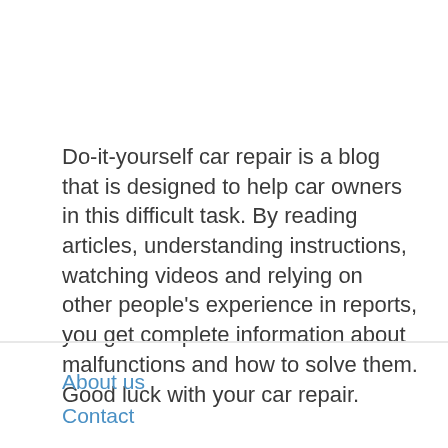Do-it-yourself car repair is a blog that is designed to help car owners in this difficult task. By reading articles, understanding instructions, watching videos and relying on other people's experience in reports, you get complete information about malfunctions and how to solve them. Good luck with your car repair.
About us
Contact